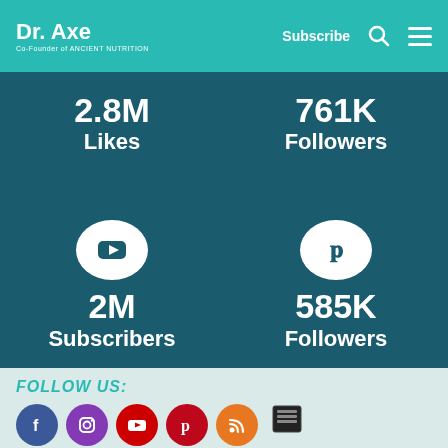[Figure (infographic): Dr. Axe website header with teal background, logo on left, Subscribe link, search icon, and hamburger menu on right]
[Figure (infographic): Social media stats panel: YouTube 2M Subscribers, Pinterest 585K Followers, Facebook 2.8M Likes, Twitter 761K Followers on dark teal background with circular icons]
FOLLOW US:
[Figure (infographic): Row of social media icon circles: Facebook, Instagram, YouTube, Pinterest, RSS, plus second row: Facebook, Twitter, Pinterest, Email, and print/share icons]